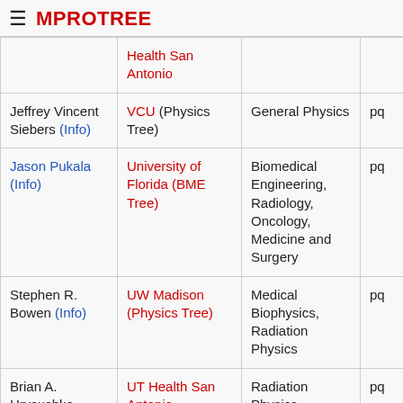MPROTREE
| Name | Institution | Field |  |
| --- | --- | --- | --- |
|  | Health San Antonio |  |  |
| Jeffrey Vincent Siebers (Info) | VCU (Physics Tree) | General Physics | pq |
| Jason Pukala (Info) | University of Florida (BME Tree) | Biomedical Engineering, Radiology, Oncology, Medicine and Surgery | pq |
| Stephen R. Bowen (Info) | UW Madison (Physics Tree) | Medical Biophysics, Radiation Physics | pq |
| Brian A. Hrycushko | UT Health San Antonio | Radiation Physics, | pq |